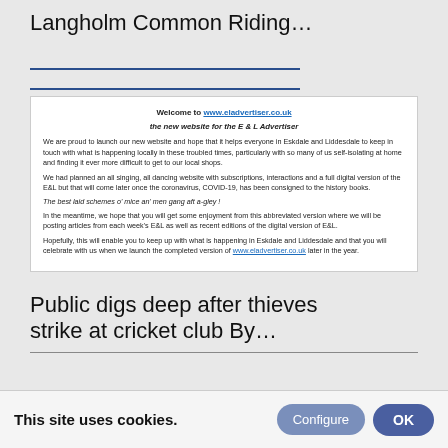Langholm Common Riding...
[Figure (other): Welcome box with website launch announcement for www.eladvertiser.co.uk - the new website for the E & L Advertiser. Contains paragraphs about launching the new website during COVID-19 times, plans for full digital version, and encouragement to visit the completed version later in the year.]
Public digs deep after thieves strike at cricket club By...
This site uses cookies.
Configure
OK